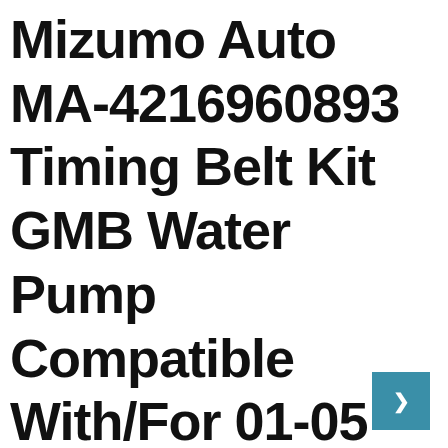Mizumo Auto MA-4216960893 Timing Belt Kit GMB Water Pump Compatible With/For 01-05